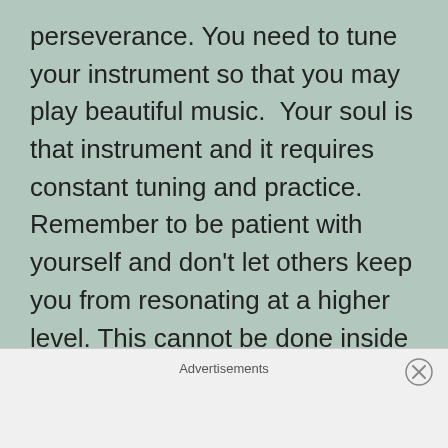perseverance. You need to tune your instrument so that you may play beautiful music.  Your soul is that instrument and it requires constant tuning and practice. Remember to be patient with yourself and don't let others keep you from resonating at a higher level. This cannot be done inside any building, this can only be done inside of you!
4.- He who follows his heart will never go astray: How many times have you followed
Advertisements